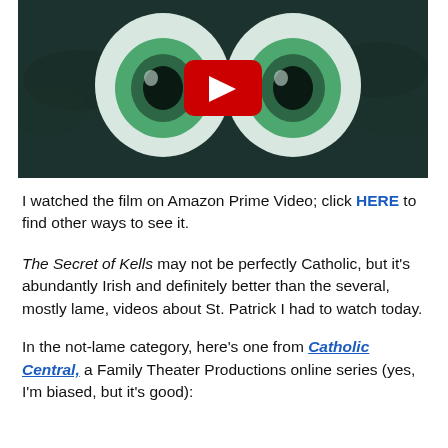[Figure (screenshot): YouTube video thumbnail showing an animated scene from The Secret of Kells — two large glowing green eyes staring forward over a dark foliage background, with a red YouTube play button in the center.]
I watched the film on Amazon Prime Video; click HERE to find other ways to see it.
The Secret of Kells may not be perfectly Catholic, but it's abundantly Irish and definitely better than the several, mostly lame, videos about St. Patrick I had to watch today.
In the not-lame category, here's one from Catholic Central, a Family Theater Productions online series (yes, I'm biased, but it's good):